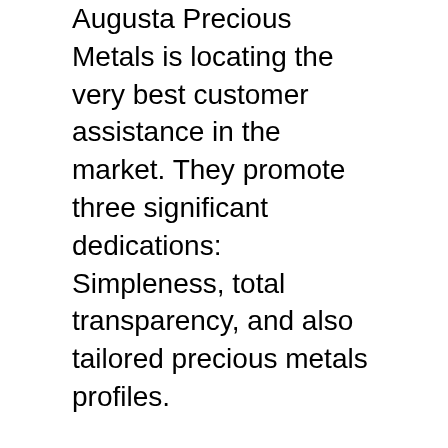Augusta Precious Metals is locating the very best customer assistance in the market. They promote three significant dedications: Simpleness, total transparency, and also tailored precious metals profiles.
As many precious metals business see clients as mere purchases, Augusta makes a big distinction by appointing a custodian to your account that will certainly be dedicated to helping learn more about your portfolio, together with offering recurring assistance as it grows.
Augusta's costs are competitive and they offer additional education resources on their internet site. This is the type of company with whom you can easily produce a long-